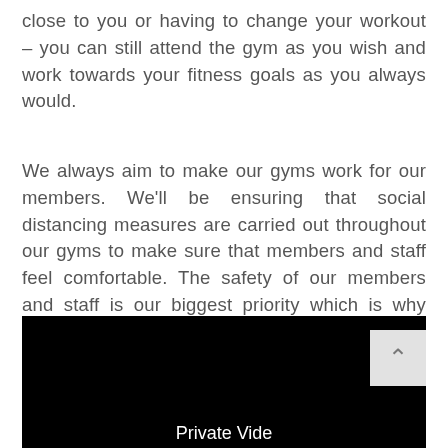close to you or having to change your workout – you can still attend the gym as you wish and work towards your fitness goals as you always would.
We always aim to make our gyms work for our members. We'll be ensuring that social distancing measures are carried out throughout our gyms to make sure that members and staff feel comfortable. The safety of our members and staff is our biggest priority which is why our gyms will be following Government guidelines and ensuring that you can focus on your fitness with reassurance that you'll be safe and comfortable.
[Figure (screenshot): A black video player area with white text at the bottom reading 'Private Vide...' (truncated), with a light grey scroll-to-top button overlaid in the top-right corner]